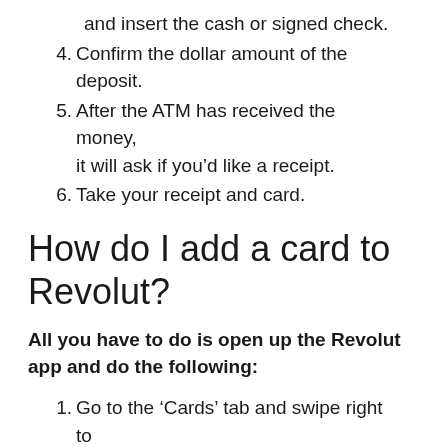and insert the cash or signed check.
4. Confirm the dollar amount of the deposit.
5. After the ATM has received the money, it will ask if you’d like a receipt.
6. Take your receipt and card.
How do I add a card to Revolut?
All you have to do is open up the Revolut app and do the following:
1. Go to the ‘Cards’ tab and swipe right to ‘Add new card’
2. Choose whether you want a virtual or physical card.
3. Select the features of card you’d like to